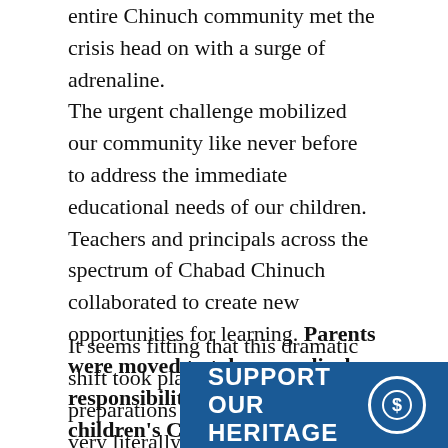entire Chinuch community met the crisis head on with a surge of adrenaline.
The urgent challenge mobilized our community like never before to address the immediate educational needs of our children. Teachers and principals across the spectrum of Chabad Chinuch collaborated to create new opportunities for learning. Parents were moved to take on radical responsibility for their own children's Chinuch in a way that we have not seen in generations.
It seems fitting that this dramatic shift took place during preparations for Pesach, as parents very literally... mitzvah of "V'higad'ta L'vincha" – you shall tell your children. This mitzvah, at its core, is the
[Figure (other): Blue banner with text 'SUPPORT OUR HERITAGE' and a dollar sign icon in a circle]